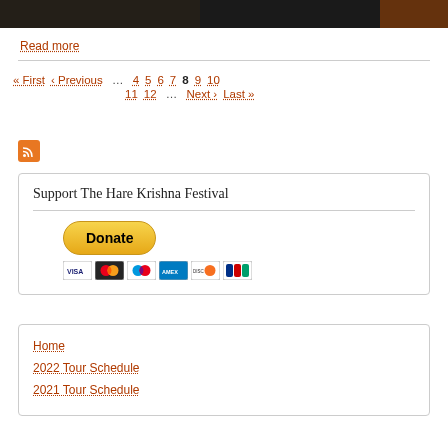[Figure (photo): Dark strip showing part of a photo at top of page]
Read more
« First ‹ Previous … 4 5 6 7 8 9 10 11 12 … Next › Last »
[Figure (logo): RSS feed orange icon]
Support The Hare Krishna Festival
[Figure (other): PayPal Donate button with credit card icons (Visa, Mastercard, Maestro, Amex, Discover, JCB)]
Home
2022 Tour Schedule
2021 Tour Schedule